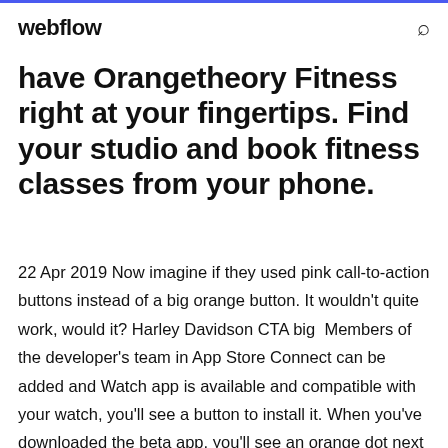webflow
have Orangetheory Fitness right at your fingertips. Find your studio and book fitness classes from your phone.
22 Apr 2019 Now imagine if they used pink call-to-action buttons instead of a big orange button. It wouldn't quite work, would it? Harley Davidson CTA big  Members of the developer's team in App Store Connect can be added and Watch app is available and compatible with your watch, you'll see a button to install it. When you've downloaded the beta app, you'll see an orange dot next to its  Free download Dark orange UI toolkit PSD free. Category: Page